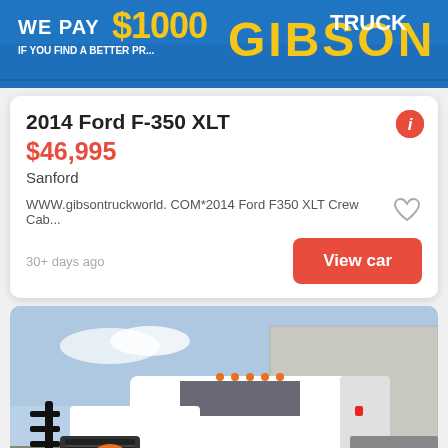[Figure (photo): Gibson Truck World dealership banner with yellow text on blue background showing 'WE PAY $1000' and 'GIBSON TRUCK' branding]
2014 Ford F-350 XLT
$46,995
Sanford
WWW.gibsontruckworld. COM*2014 Ford F350 XLT Crew Cab...
30+ days ago
View car
[Figure (photo): White Ford F-350 XLT crew cab flatbed truck photographed from the front-left angle in a parking lot, with a 'See photo' overlay button]
See photo